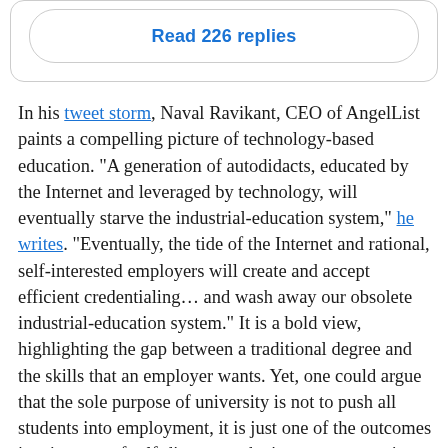[Figure (screenshot): A rounded rectangle button labeled 'Read 226 replies' in bold blue text on a white background with a light gray border.]
In his tweet storm, Naval Ravikant, CEO of AngelList paints a compelling picture of technology-based education. "A generation of autodidacts, educated by the Internet and leveraged by technology, will eventually starve the industrial-education system," he writes. "Eventually, the tide of the Internet and rational, self-interested employers will create and accept efficient credentialing… and wash away our obsolete industrial-education system." It is a bold view, highlighting the gap between a traditional degree and the skills that an employer wants. Yet, one could argue that the sole purpose of university is not to push all students into employment, it is just one of the outcomes in a journey of self-discovery, the joyous opportunity to explore a subject deeply, and the ability to mix with a vast cohort of like-minded individuals